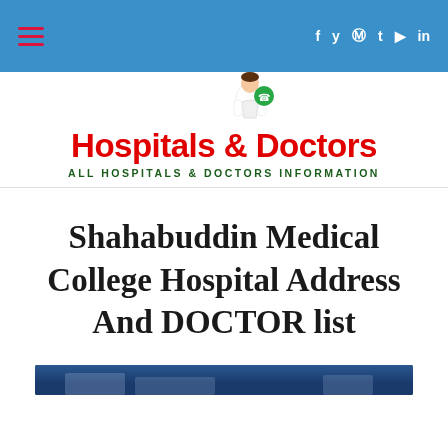≡  f  y   pinterest  t  youtube  in
[Figure (logo): Hospitals & Doctors website logo with doctor figure, phone icon, and tagline 'ALL HOSPITALS & DOCTORS INFORMATION']
Shahabuddin Medical College Hospital Address And DOCTOR list
[Figure (photo): Partial photo of Shahabuddin Medical College Hospital with dark blue header bar visible]